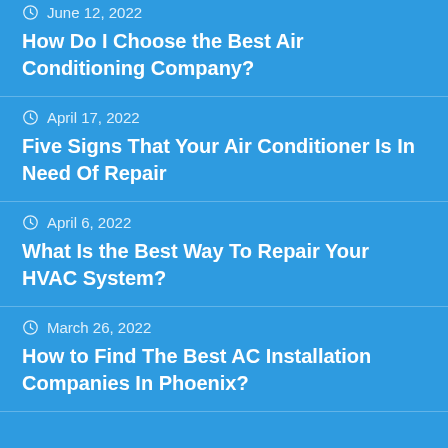June 12, 2022
How Do I Choose the Best Air Conditioning Company?
April 17, 2022
Five Signs That Your Air Conditioner Is In Need Of Repair
April 6, 2022
What Is the Best Way To Repair Your HVAC System?
March 26, 2022
How to Find The Best AC Installation Companies In Phoenix?